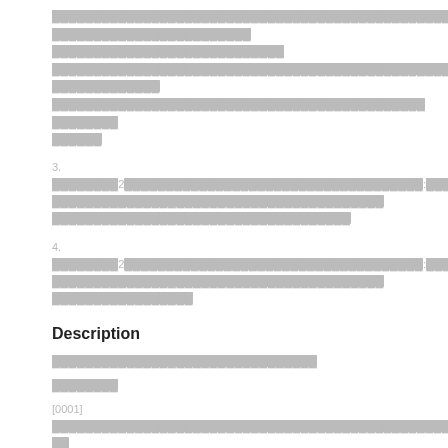[redacted text block - continuation from previous page]
3. [redacted] 2 [redacted]: [redacted] [redacted]
4. [redacted] 2 [redacted]: [redacted] [redacted]
Description
[redacted]
[redacted]
[0001] [redacted]
[redacted]
[0002] [redacted]